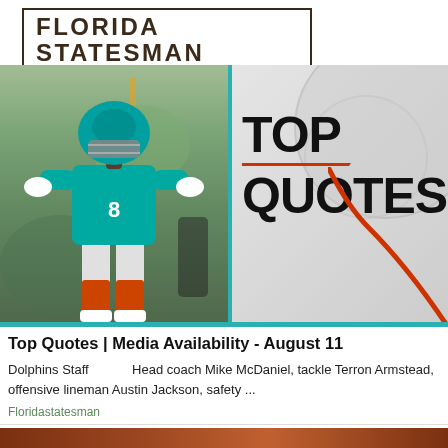[Figure (logo): Florida Statesman newspaper logo with tagline 'Serving the Sunshine State']
[Figure (photo): Miami Dolphins player wearing jersey number 8 in teal uniform at practice, alongside a 'TOP QUOTES' graphic panel with teal and red design elements]
Top Quotes | Media Availability - August 11
Dolphins Staff     Head coach Mike McDaniel, tackle Terron Armstead, offensive lineman Austin Jackson, safety ...
Floridastatesman